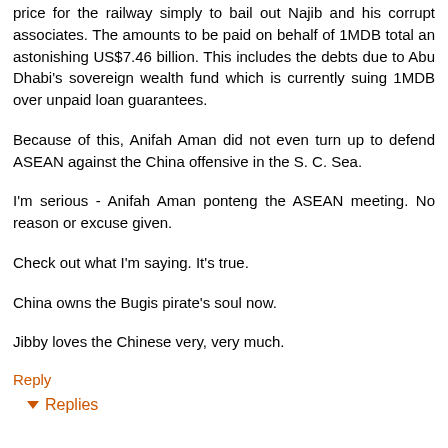price for the railway simply to bail out Najib and his corrupt associates. The amounts to be paid on behalf of 1MDB total an astonishing US$7.46 billion. This includes the debts due to Abu Dhabi's sovereign wealth fund which is currently suing 1MDB over unpaid loan guarantees.
Because of this, Anifah Aman did not even turn up to defend ASEAN against the China offensive in the S. C. Sea.
I'm serious - Anifah Aman ponteng the ASEAN meeting. No reason or excuse given.
Check out what I'm saying. It's true.
China owns the Bugis pirate's soul now.
Jibby loves the Chinese very, very much.
Reply
Replies